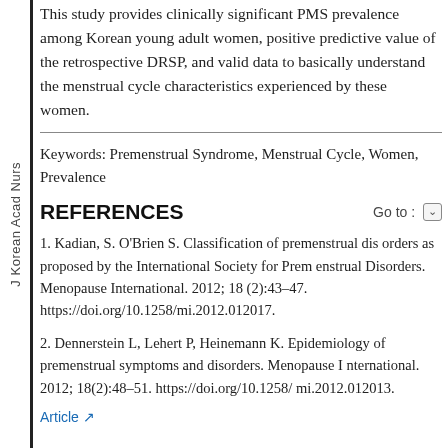This study provides clinically significant PMS prevalence among Korean young adult women, positive predictive value of the retrospective DRSP, and valid data to basically understand the menstrual cycle characteristics experienced by these women.
Keywords: Premenstrual Syndrome, Menstrual Cycle, Women, Prevalence
REFERENCES
1. Kadian, S. O'Brien S. Classification of premenstrual disorders as proposed by the International Society for Premenstrual Disorders. Menopause International. 2012; 18(2):43–47. https://doi.org/10.1258/mi.2012.012017.
2. Dennerstein L, Lehert P, Heinemann K. Epidemiology of premenstrual symptoms and disorders. Menopause International. 2012; 18(2):48–51. https://doi.org/10.1258/mi.2012.012013.